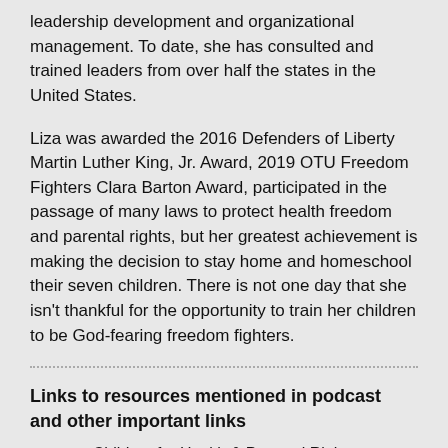leadership development and organizational management. To date, she has consulted and trained leaders from over half the states in the United States.
Liza was awarded the 2016 Defenders of Liberty Martin Luther King, Jr. Award, 2019 OTU Freedom Fighters Clara Barton Award, participated in the passage of many laws to protect health freedom and parental rights, but her greatest achievement is making the decision to stay home and homeschool their seven children. There is not one day that she isn't thankful for the opportunity to train her children to be God-fearing freedom fighters.
Links to resources mentioned in podcast and other important links
Children for Health & Parental Rights